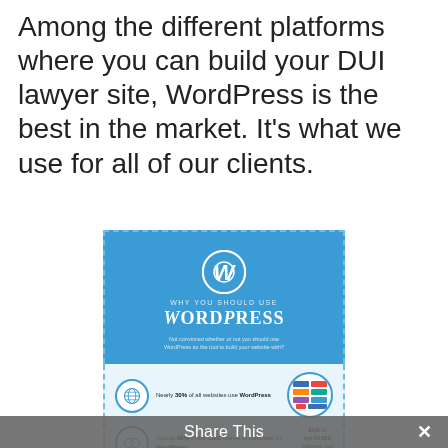Among the different platforms where you can build your DUI lawyer site, WordPress is the best in the market. It's what we use for all of our clients.
[Figure (infographic): WordPress infographic: 'Why You Should Use WordPress'. Blue header with WordPress logo and tagline. Stats section: Nearly 30% of all websites use WordPress; Around 60% of the CMS market is controlled by WordPress; 23% of top-10,000 websites use WordPress. Bottom section shows puzzle pieces, browser screenshots, 52,000+ free plugins available at WordPress.org, WordPress has free themes.]
Share This